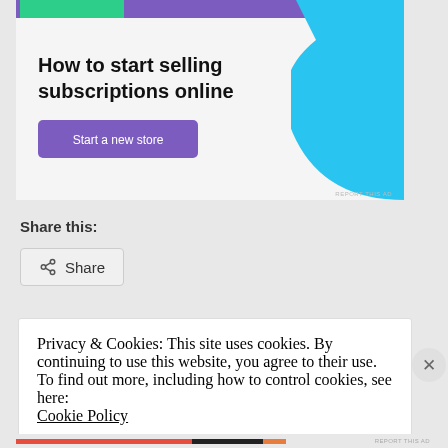[Figure (illustration): Advertisement banner: 'How to start selling subscriptions online' with a purple top strip, green triangle shape top-left, blue curved shape top-right, and a purple 'Start a new store' button.]
Share this:
Share
Privacy & Cookies: This site uses cookies. By continuing to use this website, you agree to their use.
To find out more, including how to control cookies, see here:
Cookie Policy
Close and accept